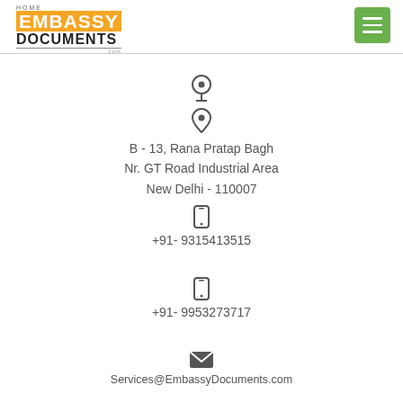HOME EMBASSY DOCUMENTS .com
[Figure (logo): Embassy Documents logo with orange EMBASSY text and black DOCUMENTS text]
B - 13, Rana Pratap Bagh
Nr. GT Road Industrial Area
New Delhi - 110007
+91- 9315413515
+91- 9953273717
Services@EmbassyDocuments.com